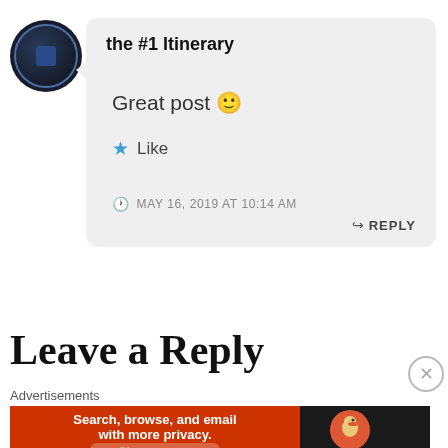the #1 Itinerary
Great post 🙂
Like
MAY 16, 2019 AT 10:14 AM
REPLY
Leave a Reply
Advertisements
Search, browse, and email with more privacy. All in One Free App